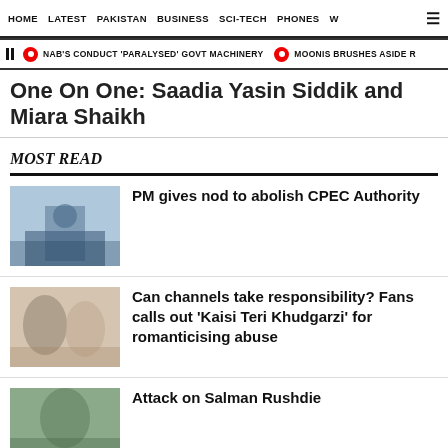HOME  LATEST  PAKISTAN  BUSINESS  SCI-TECH  PHONES  W
NAB'S CONDUCT 'PARALYSED' GOVT MACHINERY   MOONIS BRUSHES ASIDE R
One On One: Saadia Yasin Siddik and Miara Shaikh
MOST READ
PM gives nod to abolish CPEC Authority
Can channels take responsibility? Fans calls out 'Kaisi Teri Khudgarzi' for romanticising abuse
Attack on Salman Rushdie